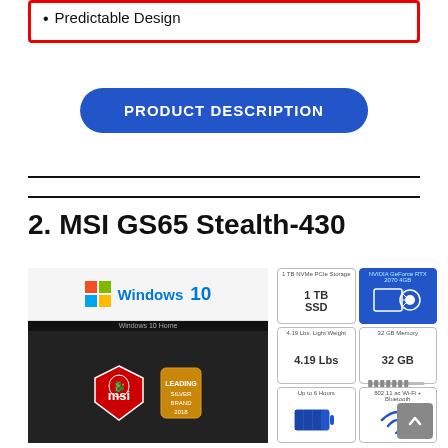Predictable Design
PRODUCT DESCRIPTION
2. MSI GS65 Stealth-430
[Figure (photo): MSI GS65 Stealth-430 laptop product image with Windows 10 Home badge and MSI award badge, alongside a specs infographic showing 1 TB SSD NVMe PCIe storage, NVIDIA GeForce RTX 2070 4GB GPU, 4.19 Lbs weight, 32 GB memory, battery life up to 6 hours, and Wi-Fi/Bluetooth connectivity]